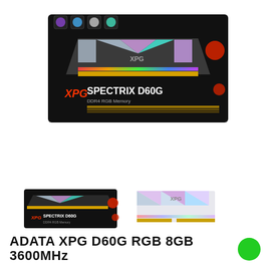[Figure (photo): ADATA XPG Spectrix D60G DDR4 RGB Memory product box — black box with colorful RGB RAM stick shown on top, XPG and SPECTRIX D60G DDR4 RGB Memory branding visible]
[Figure (photo): Small thumbnail of the product box (same ADATA XPG Spectrix D60G box, side view)]
[Figure (photo): Small thumbnail of the RAM stick itself — ADATA XPG Spectrix D60G RGB DDR4 memory module with geometric heatspreader]
ADATA XPG D60G RGB 8GB 3600MHz